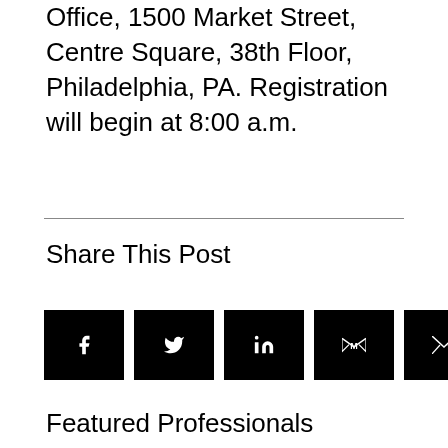Office, 1500 Market Street, Centre Square, 38th Floor, Philadelphia, PA. Registration will begin at 8:00 a.m.
Share This Post
[Figure (other): Five social share buttons in black: Facebook (f), Twitter (bird), LinkedIn (in), Gmail (M), Email (envelope)]
Featured Professionals